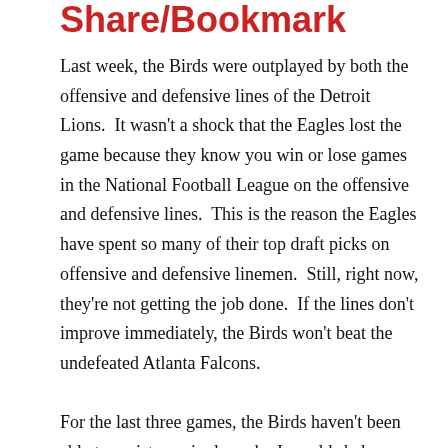Share/Bookmark
Last week, the Birds were outplayed by both the offensive and defensive lines of the Detroit Lions.  It wasn't a shock that the Eagles lost the game because they know you win or lose games in the National Football League on the offensive and defensive lines.  This is the reason the Eagles have spent so many of their top draft picks on offensive and defensive linemen.  Still, right now, they're not getting the job done.  If the lines don't improve immediately, the Birds won't beat the undefeated Atlanta Falcons.
For the last three games, the Birds haven't been able to register a single sack.  I would shake things up by starting Darryl Tapp and Phillip Hunt or Brandon Graham.  They've got to get the attention of veterans Trent Cole and Jason